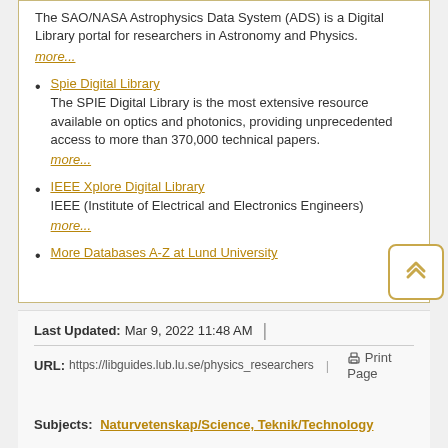The SAO/NASA Astrophysics Data System (ADS) is a Digital Library portal for researchers in Astronomy and Physics.
more...
Spie Digital Library
The SPIE Digital Library is the most extensive resource available on optics and photonics, providing unprecedented access to more than 370,000 technical papers.
more...
IEEE Xplore Digital Library
IEEE (Institute of Electrical and Electronics Engineers)
more...
More Databases A-Z at Lund University
Last Updated: Mar 9, 2022 11:48 AM | URL: https://libguides.lub.lu.se/physics_researchers | Print Page | Login to LibApps | Report a problem. | Subjects: Naturvetenskap/Science, Teknik/Technology